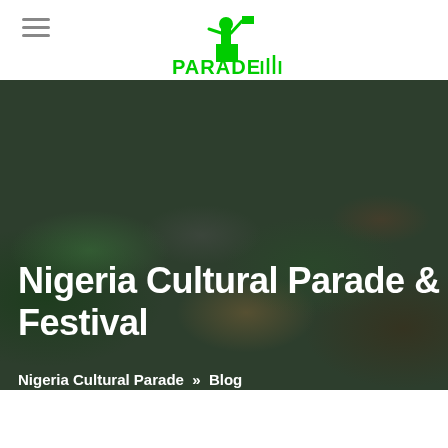[Figure (logo): Nigeria Cultural Parade logo — green figure standing on a podium with 'PARADE' text in bright green below, on white background]
[Figure (photo): Crowd of people at an outdoor festival/parade event, dark overlay, trees visible in background]
Nigeria Cultural Parade & Festival
Nigeria Cultural Parade » Blog » Nigeria Cultural Parade & Festival